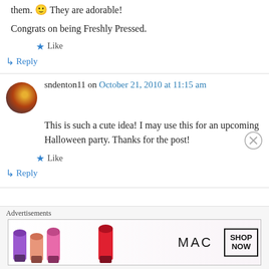them. 🙂 They are adorable!
Congrats on being Freshly Pressed.
★ Like
↳ Reply
sndenton11 on October 21, 2010 at 11:15 am
This is such a cute idea! I may use this for an upcoming Halloween party. Thanks for the post!
★ Like
↳ Reply
Advertisements
[Figure (photo): MAC cosmetics advertisement banner showing lipsticks with SHOP NOW button]